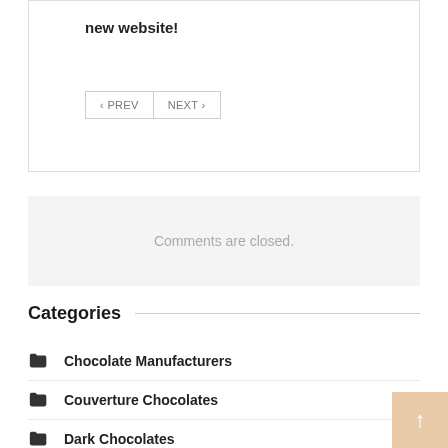new website!
‹ PREV   NEXT ›
Comments are closed.
Categories
Chocolate Manufacturers
Couverture Chocolates
Dark Chocolates
Milk Chocolates
Unsweetened Cocoa Powder